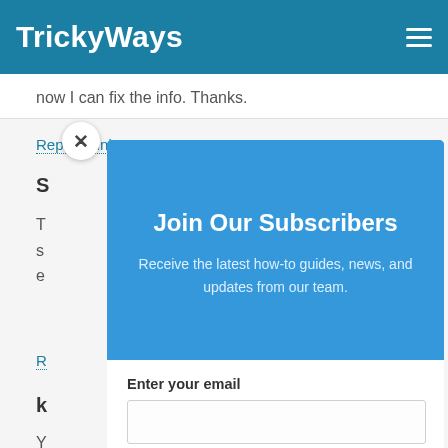TrickyWays
now I can fix the info. Thanks.
Reply   Link
S
T
s
e
R
k
Y
y
[Figure (screenshot): Subscription modal popup with blue header section reading 'Join Our Subscribers' and subtitle 'Receive the latest how-to guides, news, and updates from our team.' Below is a white section with 'Enter your email' label field and a 'Subscribe' button. A close (X) button appears in the top-left of the modal.]